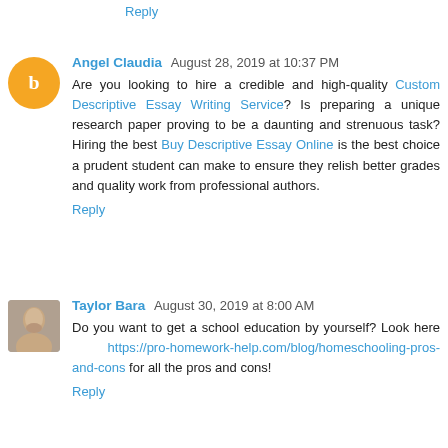Reply
Angel Claudia  August 28, 2019 at 10:37 PM
Are you looking to hire a credible and high-quality Custom Descriptive Essay Writing Service? Is preparing a unique research paper proving to be a daunting and strenuous task? Hiring the best Buy Descriptive Essay Online is the best choice a prudent student can make to ensure they relish better grades and quality work from professional authors.
Reply
Taylor Bara  August 30, 2019 at 8:00 AM
Do you want to get a school education by yourself? Look here   https://pro-homework-help.com/blog/homeschooling-pros-and-cons for all the pros and cons!
Reply